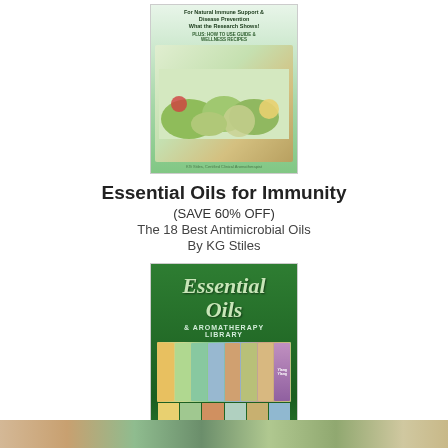[Figure (illustration): Book cover for Essential Oils for Immunity showing herbs and oils on a light green background with text about natural immune support]
Essential Oils for Immunity
(SAVE 60% OFF)
The 18 Best Antimicrobial Oils
By KG Stiles
[Figure (illustration): Book cover for Essential Oils & Aromatherapy Library showing a dark green background with cursive Essential Oils text and multiple book thumbnail images at the bottom]
Essential Oils & Aromatherapy Library
(BUY BUNDLE & SAVE)
By KG Stiles
[Figure (photo): Partial bottom strip showing colorful nature/herb images]